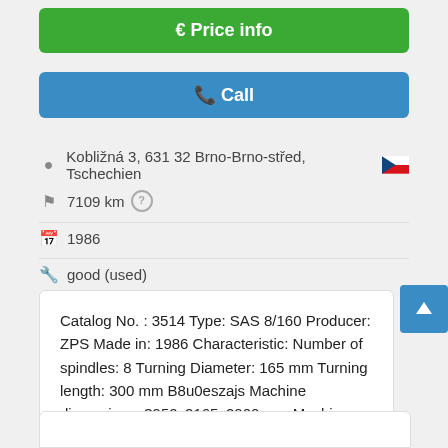€ Price info
✆ Call
Kobližná 3, 631 32 Brno-Brno-střed, Tschechien
7109 km
1986
good (used)
Catalog No. : 3514 Type: SAS 8/160 Producer: ZPS Made in: 1986 Characteristic: Number of spindles: 8 Turning Diameter: 165 mm Turning length: 300 mm B8u0eszajs Machine dimensions: 3950x2165x2000 mm Machine weight 13800 kg
Save search query